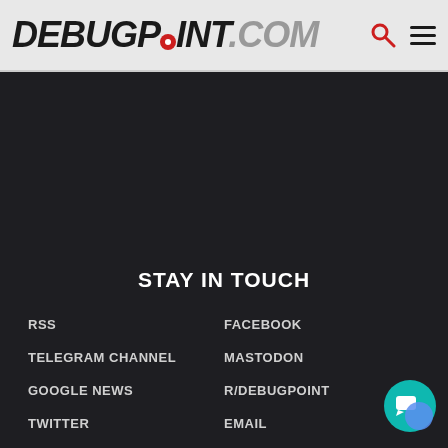DEBUGPOINT.COM
[Figure (other): Dark background advertisement/content area]
STAY IN TOUCH
RSS
FACEBOOK
TELEGRAM CHANNEL
MASTODON
GOOGLE NEWS
R/DEBUGPOINT
TWITTER
EMAIL